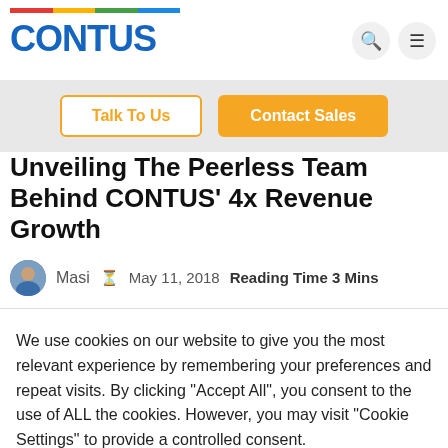[Figure (logo): CONTUS logo with rainbow bar above in red, yellow, green, blue segments]
Talk To Us
Contact Sales
Unveiling The Peerless Team Behind CONTUS' 4x Revenue Growth
Masi  May 11, 2018  Reading Time 3 Mins
We use cookies on our website to give you the most relevant experience by remembering your preferences and repeat visits. By clicking "Accept All", you consent to the use of ALL the cookies. However, you may visit "Cookie Settings" to provide a controlled consent.
Cookie Settings
Accept All